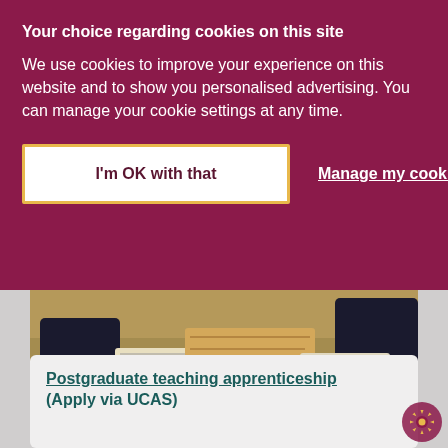Your choice regarding cookies on this site
We use cookies to improve your experience on this website and to show you personalised advertising. You can manage your cookie settings at any time.
I'm OK with that
Manage my cookies
[Figure (photo): Students sitting at a table writing, viewed from above, with books and papers on the table.]
Postgraduate teaching apprenticeship (Apply via UCAS)